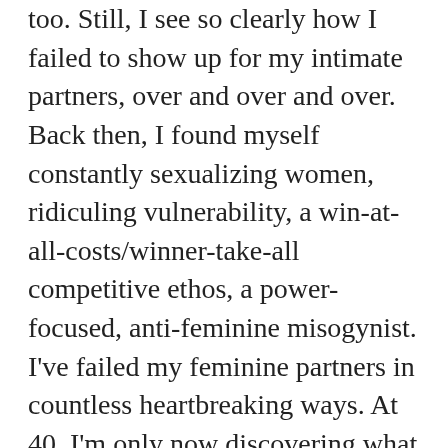too. Still, I see so clearly how I failed to show up for my intimate partners, over and over and over. Back then, I found myself constantly sexualizing women, ridiculing vulnerability, a win-at-all-costs/winner-take-all competitive ethos, a power-focused, anti-feminine misogynist. I've failed my feminine partners in countless heartbreaking ways. At 40, I'm only now discovering what this has cost me and the women I've tried to love for years."
The full article is available at The Good Men Project.